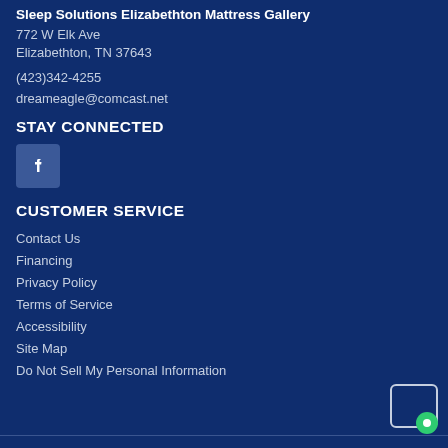Sleep Solutions Elizabethton Mattress Gallery
772 W Elk Ave
Elizabethton, TN 37643
(423)342-4255
dreameagle@comcast.net
STAY CONNECTED
[Figure (logo): Facebook icon - blue square with white 'f' letter]
CUSTOMER SERVICE
Contact Us
Financing
Privacy Policy
Terms of Service
Accessibility
Site Map
Do Not Sell My Personal Information